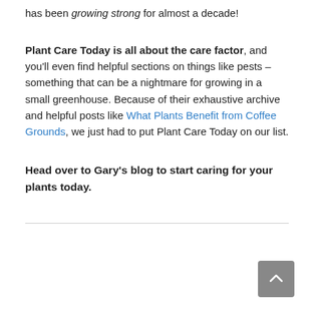has been growing strong for almost a decade!
Plant Care Today is all about the care factor, and you'll even find helpful sections on things like pests – something that can be a nightmare for growing in a small greenhouse. Because of their exhaustive archive and helpful posts like What Plants Benefit from Coffee Grounds, we just had to put Plant Care Today on our list.
Head over to Gary's blog to start caring for your plants today.